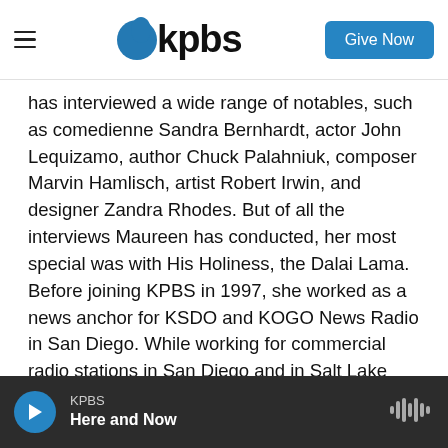KPBS — Give Now
has interviewed a wide range of notables, such as comedienne Sandra Bernhardt, actor John Lequizamo, author Chuck Palahniuk, composer Marvin Hamlisch, artist Robert Irwin, and designer Zandra Rhodes. But of all the interviews Maureen has conducted, her most special was with His Holiness, the Dalai Lama. Before joining KPBS in 1997, she worked as a news anchor for KSDO and KOGO News Radio in San Diego. While working for commercial radio stations in San Diego and in Salt Lake City, Utah, Maureen reported on both hard news and lifestyle features. Maureen has received three "Golden Mike" awards from the Radio and
KPBS — Here and Now